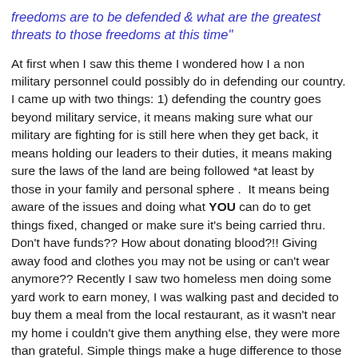freedoms are to be defended & what are the greatest threats to those freedoms at this time"
At first when I saw this theme I wondered how I a non military personnel could possibly do in defending our country. I came up with two things: 1) defending the country goes beyond military service, it means making sure what our military are fighting for is still here when they get back, it means holding our leaders to their duties, it means making sure the laws of the land are being followed *at least by those in your family and personal sphere .  It means being aware of the issues and doing what YOU can do to get things fixed, changed or make sure it's being carried thru. Don't have funds?? How about donating blood?!! Giving away food and clothes you may not be using or can't wear anymore?? Recently I saw two homeless men doing some yard work to earn money, I was walking past and decided to buy them a meal from the local restaurant, as it wasn't near my home i couldn't give them anything else, they were more than grateful. Simple things make a huge difference to those who need it.   Look at how everyone is talking about the picture of the cop helping the homeless man with some